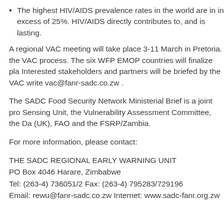The highest HIV/AIDS prevalence rates in the world are in in excess of 25%. HIV/AIDS directly contributes to, and is lasting.
A regional VAC meeting will take place 3-11 March in Pretoria. the VAC process. The six WFP EMOP countries will finalize pla Interested stakeholders and partners will be briefed by the VAC write vac@fanr-sadc.co.zw .
The SADC Food Security Network Ministerial Brief is a joint pro Sensing Unit, the Vulnerability Assessment Committee, the Da (UK), FAO and the FSRP/Zambia.
For more information, please contact:
THE SADC REGIONAL EARLY WARNING UNIT
PO Box 4046 Harare, Zimbabwe
Tel: (263-4) 736051/2 Fax: (263-4) 795283/729196
Email: rewu@fanr-sadc.co.zw Internet: www.sadc-fanr.org.zw